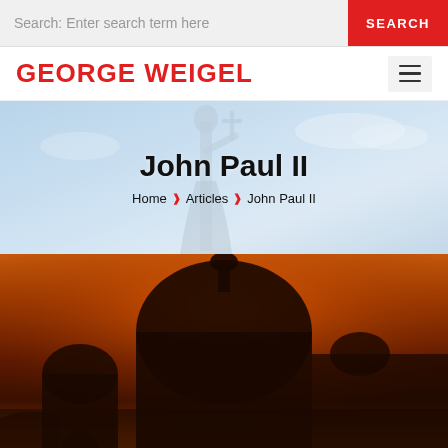Search: Enter search term here | SEARCH
GEORGE WEIGEL
[Figure (illustration): Hero banner with a light blue sky background and a white statue silhouette holding a cross, overlaid with the page title 'John Paul II' and breadcrumb navigation 'Home > Articles > John Paul II']
Home > Articles > John Paul II
[Figure (photo): Photograph of St. Peter's Basilica dome silhouette against a dramatic orange/red sunset sky]